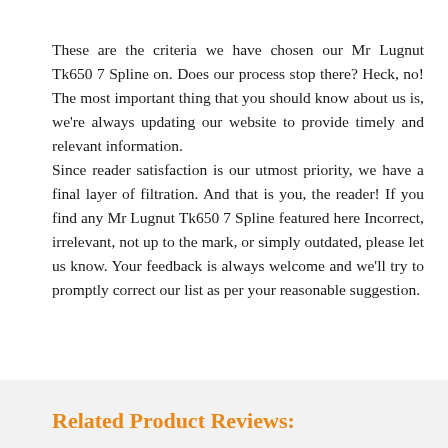These are the criteria we have chosen our Mr Lugnut Tk650 7 Spline on. Does our process stop there? Heck, no! The most important thing that you should know about us is, we're always updating our website to provide timely and relevant information. Since reader satisfaction is our utmost priority, we have a final layer of filtration. And that is you, the reader! If you find any Mr Lugnut Tk650 7 Spline featured here Incorrect, irrelevant, not up to the mark, or simply outdated, please let us know. Your feedback is always welcome and we'll try to promptly correct our list as per your reasonable suggestion.
Related Product Reviews: